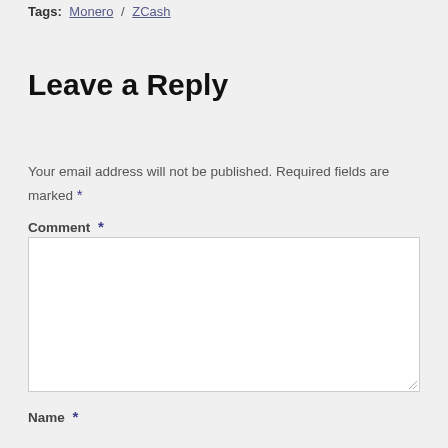Tags: Monero ZCash
Leave a Reply
Your email address will not be published. Required fields are marked *
Comment *
Name *